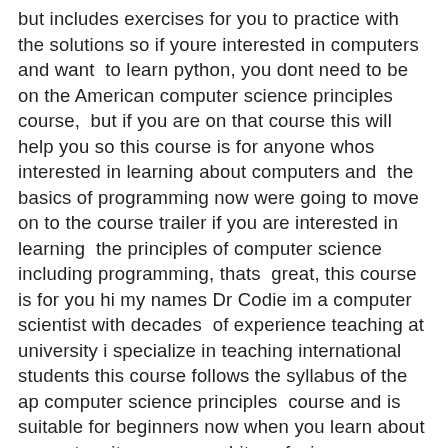but includes exercises for you to practice with the solutions so if youre interested in computers and want to learn python, you dont need to be on the American computer science principles course, but if you are on that course this will help you so this course is for anyone whos interested in learning about computers and the basics of programming now were going to move on to the course trailer if you are interested in learning the principles of computer science including programming, thats great, this course is for you hi my names Dr Codie im a computer scientist with decades of experience teaching at university i specialize in teaching international students this course follows the syllabus of the ap computer science principles course and is suitable for beginners now when you learn about computers it can seem a bit confusing so we have designed this course to be simple to understand now an important part of computer science is programming we believe that if you want to learn about programming you have to practice you actually have to learn how to code yourself rather than just watching videos so weve included a whole section on learning the python programming language weve included exercises so you can practice your programming and truly learn the programming concepts